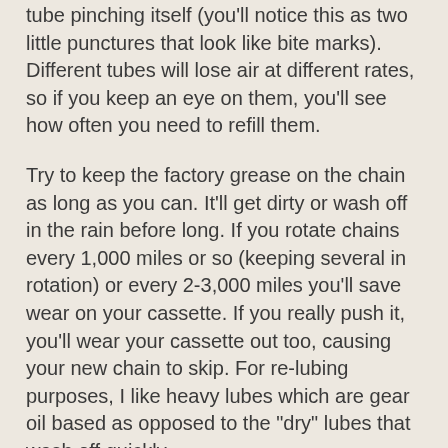tube pinching itself (you'll notice this as two little punctures that look like bite marks). Different tubes will lose air at different rates, so if you keep an eye on them, you'll see how often you need to refill them.
Try to keep the factory grease on the chain as long as you can. It'll get dirty or wash off in the rain before long. If you rotate chains every 1,000 miles or so (keeping several in rotation) or every 2-3,000 miles you'll save wear on your cassette. If you really push it, you'll wear your cassette out too, causing your new chain to skip. For re-lubing purposes, I like heavy lubes which are gear oil based as opposed to the "dry" lubes that wash off quickly.
Your rear tire will wear out about twice as quickly as the front. Keep the more worn out tire on the back. Having a blow out on the front is NO FUN!!!
If you ride a lot, recable and rehouse your bike every year or so. Mileage wise, I'd say every 5 or 6,000 miles.
I typically do a bunch of this in the spring or summer, once the weather turns. I pull the bik…